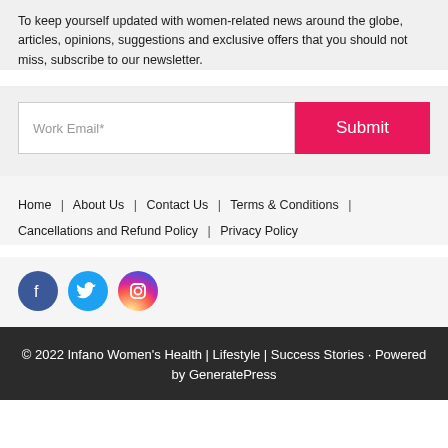To keep yourself updated with women-related news around the globe, articles, opinions, suggestions and exclusive offers that you should not miss, subscribe to our newsletter.
[Figure (other): Email subscription form with a 'Work Email*' input field and a pink 'Submit' button]
Home | About Us | Contact Us | Terms & Conditions | Cancellations and Refund Policy | Privacy Policy
[Figure (other): Social media icons: Facebook (blue circle), Twitter (blue circle), Instagram (gradient circle)]
© 2022 Infano Women's Health | Lifestyle | Success Stories · Powered by GeneratePress